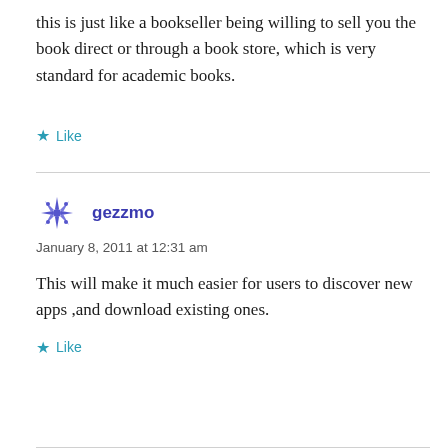this is just like a bookseller being willing to sell you the book direct or through a book store, which is very standard for academic books.
★ Like
gezzmo
January 8, 2011 at 12:31 am
This will make it much easier for users to discover new apps ,and download existing ones.
★ Like